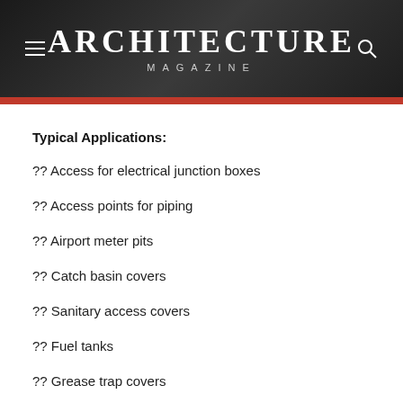ARCHITECTURE MAGAZINE
Typical Applications:
?? Access for electrical junction boxes
?? Access points for piping
?? Airport meter pits
?? Catch basin covers
?? Sanitary access covers
?? Fuel tanks
?? Grease trap covers